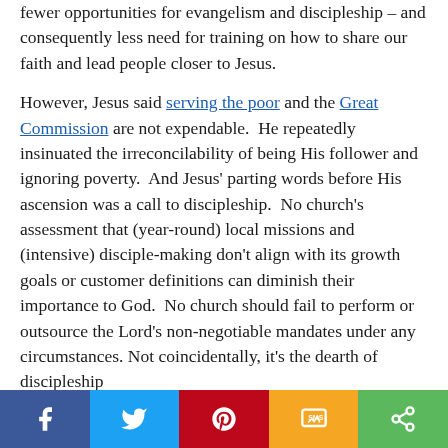fewer opportunities for evangelism and discipleship – and consequently less need for training on how to share our faith and lead people closer to Jesus.

However, Jesus said serving the poor and the Great Commission are not expendable. He repeatedly insinuated the irreconcilability of being His follower and ignoring poverty. And Jesus' parting words before His ascension was a call to discipleship. No church's assessment that (year-round) local missions and (intensive) disciple-making don't align with its growth goals or customer definitions can diminish their importance to God. No church should fail to perform or outsource the Lord's non-negotiable mandates under any circumstances. Not coincidentally, it's the dearth of discipleship
[Figure (infographic): Social sharing bar with Facebook, Twitter, Pinterest, SMS, and share icons on colored backgrounds]